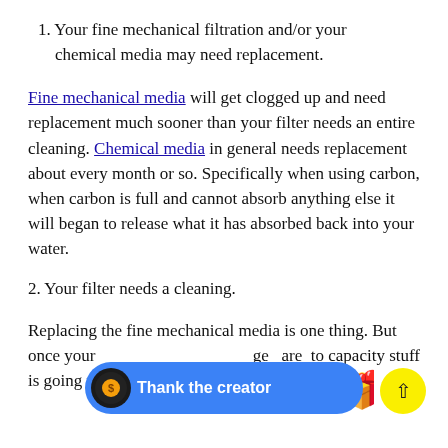1. Your fine mechanical filtration and/or your chemical media may need replacement.
Fine mechanical media will get clogged up and need replacement much sooner than your filter needs an entire cleaning. Chemical media in general needs replacement about every month or so. Specifically when using carbon, when carbon is full and cannot absorb anything else it will began to release what it has absorbed back into your water.
2. Your filter needs a cleaning.
Replacing the fine mechanical media is one thing. But once your [filter gets to] capacity stuff is going to get through. Through to your